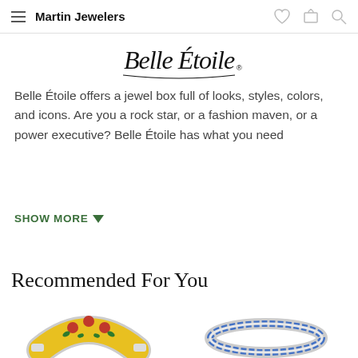Martin Jewelers
[Figure (logo): Belle Étoile cursive script logo in black ink on white background]
Belle Étoile offers a jewel box full of looks, styles, colors, and icons. Are you a rock star, or a fashion maven, or a power executive? Belle Étoile has what you need
SHOW MORE
Recommended For You
[Figure (photo): Colorful enamel cuff bracelet with floral design in red, green, and yellow on white metal]
[Figure (photo): Silver eternity band ring with blue sapphire stones]